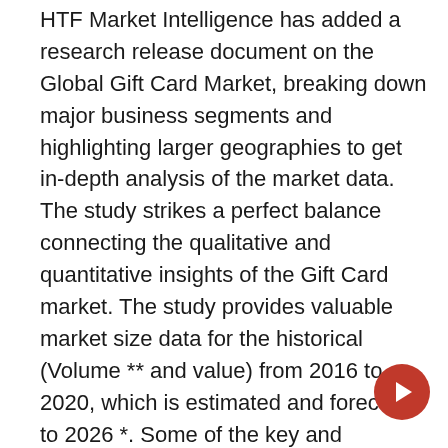HTF Market Intelligence has added a research release document on the Global Gift Card Market, breaking down major business segments and highlighting larger geographies to get in-depth analysis of the market data. The study strikes a perfect balance connecting the qualitative and quantitative insights of the Gift Card market. The study provides valuable market size data for the historical (Volume ** and value) from 2016 to 2020, which is estimated and forecast to 2026 *. Some of the key and emerging players that are part of the cover and have been profiled are Incomm, Blackhawk Network, Cashstar, My Gift Card Supply, Game Card Delivery, Pro Game Cards, Cardscode.com, Best Buy, Gamestop, Walmart, Sam's Club , Target, Walgreens, CVS, Seven Eleven, Lowe's, Game Stop, Home Depot,